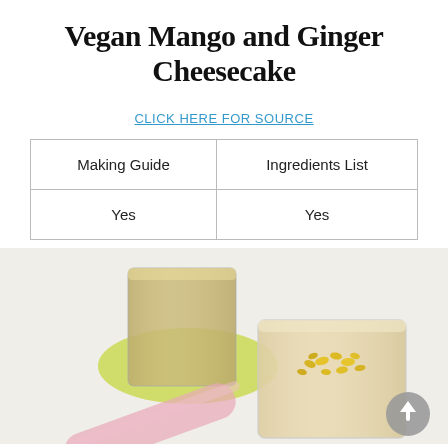Vegan Mango and Ginger Cheesecake
CLICK HERE FOR SOURCE
| Making Guide | Ingredients List |
| --- | --- |
| Yes | Yes |
[Figure (photo): Two glasses of mango and ginger cheesecake smoothie/dessert, one in background on a yellow-green plate, one in foreground topped with mango pieces, on a light background. A scroll-to-top button (gray circle with upward arrow) is visible in the lower right corner.]